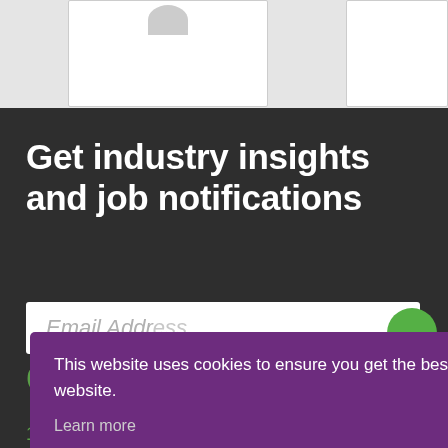[Figure (screenshot): Top section with light gray background showing partial white cards]
Get industry insights and job notifications
Email Address
This website uses cookies to ensure you get the best experience on our website.
Learn more
Got it
Contact
15 Manor Farm Barns